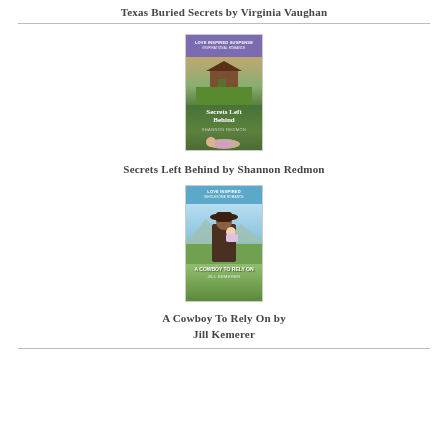Texas Buried Secrets by Virginia Vaughan
[Figure (illustration): Book cover for 'Secrets Left Behind' by Shannon Redmon — Love Inspired Suspense romance. Shows a house in a field with a baby on the ground in the foreground.]
Secrets Left Behind by Shannon Redmon
[Figure (illustration): Book cover for 'A Cowboy To Rely On' — Love Inspired Wholesome Romance. Shows a cowboy in a hat holding a baby with a mountain lake in the background.]
A Cowboy To Rely On by Jill Kemerer